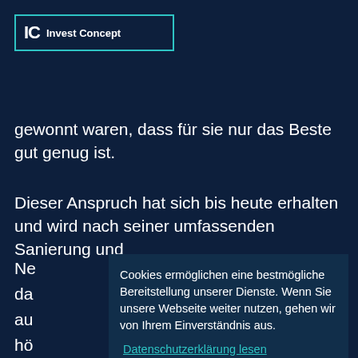[Figure (logo): IC Invest Concept logo with teal border rectangle]
gewonnt waren, dass für sie nur das Beste gut genug ist.
Dieser Anspruch hat sich bis heute erhalten und wird nach seiner umfassenden Sanierung und
Ne
da
au
hö
die
An
Wo
vie
na
Cookies ermöglichen eine bestmögliche Bereitstellung unserer Dienste. Wenn Sie unsere Webseite weiter nutzen, gehen wir von Ihrem Einverständnis aus.
Datenschutzerklärung lesen
Verstanden